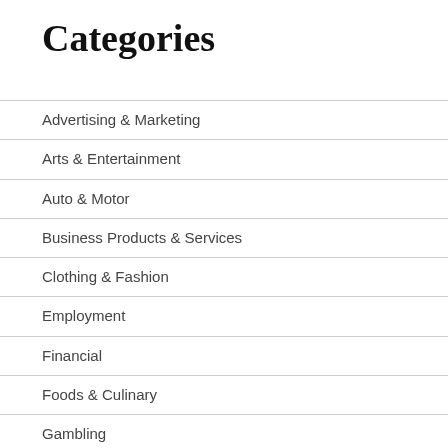Categories
Advertising & Marketing
Arts & Entertainment
Auto & Motor
Business Products & Services
Clothing & Fashion
Employment
Financial
Foods & Culinary
Gambling
Health & Fitness
health care
Health Care & Medical